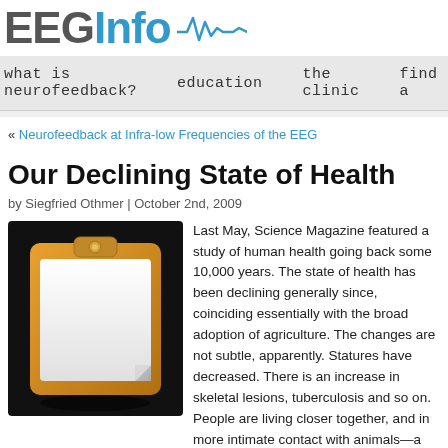EEGInfo
what is neurofeedback?  education  the clinic  find a
« Neurofeedback at Infra-low Frequencies of the EEG
Our Declining State of Health
by Siegfried Othmer | October 2nd, 2009
[Figure (illustration): Clipboard icon with white page on dark background, gold/orange colored clipboard frame]
Last May, Science Magazine featured a study of human health going back some 10,000 years. The state of health has been declining generally since, coinciding essentially with the broad adoption of agriculture. The changes are not subtle, apparently. Statures have decreased. There is an increase in skeletal lesions, tuberculosis and so on. People are living closer together, and in more intimate contact with animals—a formula for increases in contagion in general and for bacterial and viral transfer in particular.

The switch to grain-based diets had further effects on health, with cavities and tooth loss bec